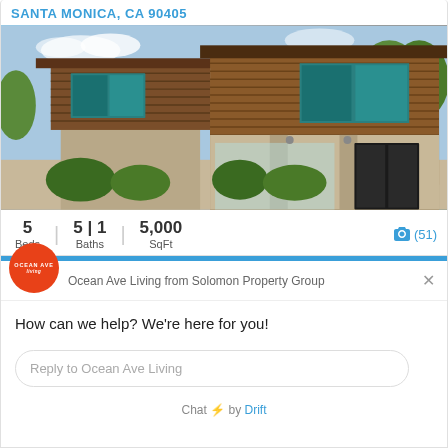SANTA MONICA, CA 90405
[Figure (photo): Modern two-story home with wood siding, large windows, and landscaping in Santa Monica, CA]
5 Beds | 5 | 1 Baths | 5,000 SqFt
📷 (51)
Ocean Ave Living from Solomon Property Group
How can we help? We're here for you!
Reply to Ocean Ave Living
Chat ⚡ by Drift